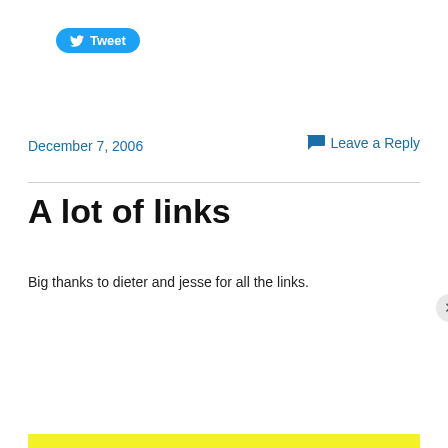[Figure (logo): Twitter Tweet button — blue rounded rectangle with bird icon and 'Tweet' text in white]
December 7, 2006
Leave a Reply
A lot of links
Big thanks to dieter and jesse for all the links.
Privacy & Cookies: This site uses cookies. By continuing to use this website, you agree to their use.
To find out more, including how to control cookies, see here: Cookie Policy
Close and accept